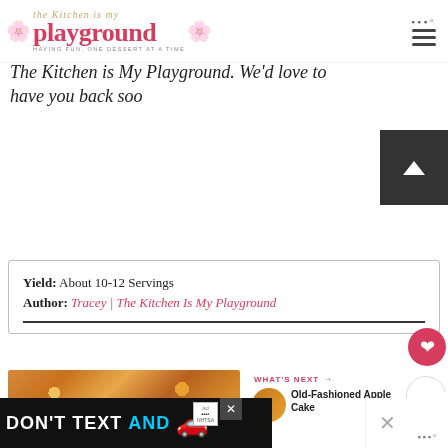The Kitchen is My Playground
The Kitchen is My Playground. We'd love to have you back soo
[Figure (logo): Save button with Pinterest icon]
Yield: About 10-12 Servings
Author: Tracey | The Kitchen Is My Playground
[Figure (photo): Close-up photo of caramel popcorn or similar snack]
WHAT'S NEXT → Old-Fashioned Apple Cake
[Figure (screenshot): DON'T TEXT AND [ad banner with car] ad:NHTSA]